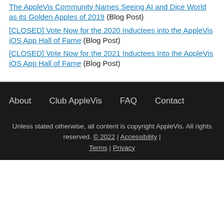The AppleVis Community Names Seeing AI and Dice World as its Golden Apples of 2019 (Blog Post)
[CLOSED] Vote Now for the 2020 Inductees into the AppleVis iOS App Hall of Fame (Blog Post)
[CLOSED] Vote Now for the 2021 Inductees Into the AppleVis iOS App Hall of Fame (Blog Post)
About   Club AppleVis   FAQ   Contact
Unless stated otherwise, all content is copyright AppleVis. All rights reserved. © 2022 | Accessibility | Terms | Privacy